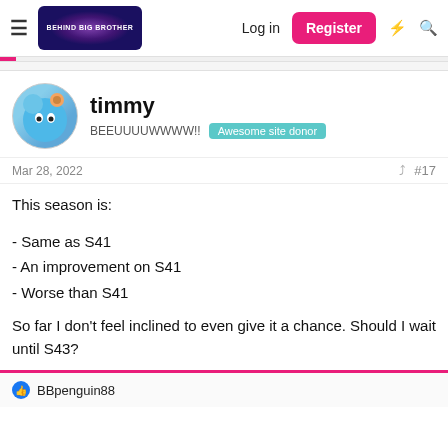Behind Big Brother — Log in | Register
timmy
BEEUUUUWWWW!!
Awesome site donor
Mar 28, 2022
#17
This season is:
- Same as S41
- An improvement on S41
- Worse than S41
So far I don't feel inclined to even give it a chance. Should I wait until S43?
BBpenguin88